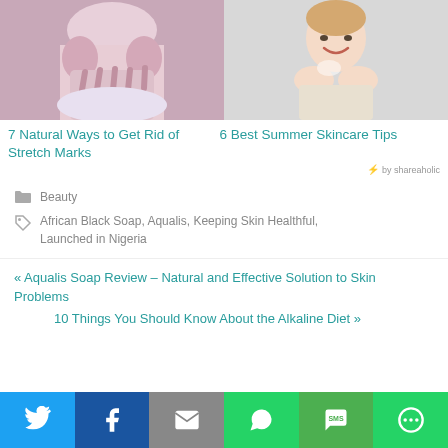[Figure (photo): Person touching their waist/belly area in white underwear — stretch marks photo]
[Figure (photo): Woman smiling and applying skincare cream to her face]
7 Natural Ways to Get Rid of Stretch Marks
6 Best Summer Skincare Tips
⚡ by shareaholic
Beauty
African Black Soap, Aqualis, Keeping Skin Healthful, Launched in Nigeria
« Aqualis Soap Review – Natural and Effective Solution to Skin Problems
10 Things You Should Know About the Alkaline Diet »